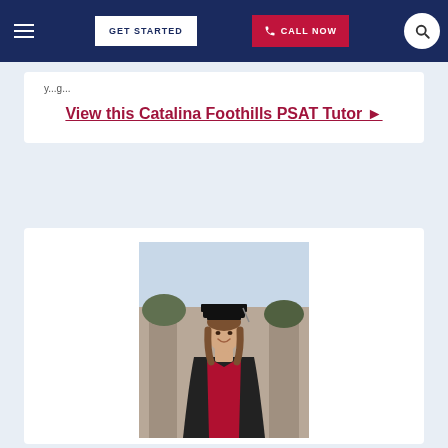GET STARTED | CALL NOW
y...g...
View this Catalina Foothills PSAT Tutor ▶
[Figure (photo): A woman in black graduation gown and cap with red sash/hood, smiling, standing in front of a brick building.]